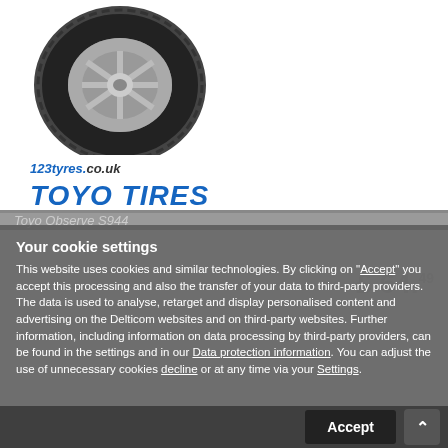[Figure (photo): Car tyre (Toyo Observe S944) product photo with 123tyres.co.uk logo watermark and TOYO TIRES brand logo below]
Toyo Observe S944
Your cookie settings
This website uses cookies and similar technologies. By clicking on "Accept" you accept this processing and also the transfer of your data to third-party providers. The data is used to analyse, retarget and display personalised content and advertising on the Delticom websites and on third-party websites. Further information, including information on data processing by third-party providers, can be found in the settings and in our Data protection information. You can adjust the use of unnecessary cookies decline or at any time via your Settings.
£ 64.49
Accept